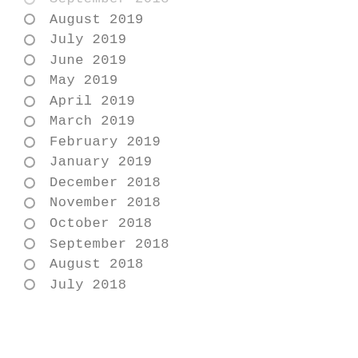September 2018 (partial, top cut off)
August 2019
July 2019
June 2019
May 2019
April 2019
March 2019
February 2019
January 2019
December 2018
November 2018
October 2018
September 2018
August 2018
July 2018